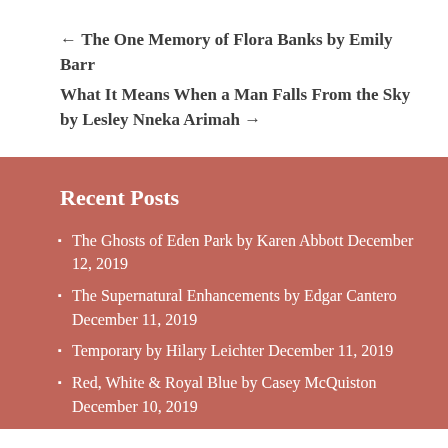← The One Memory of Flora Banks by Emily Barr
What It Means When a Man Falls From the Sky by Lesley Nneka Arimah →
Recent Posts
The Ghosts of Eden Park by Karen Abbott December 12, 2019
The Supernatural Enhancements by Edgar Cantero December 11, 2019
Temporary by Hilary Leichter December 11, 2019
Red, White & Royal Blue by Casey McQuiston December 10, 2019
The Most Fun We Ever Had by